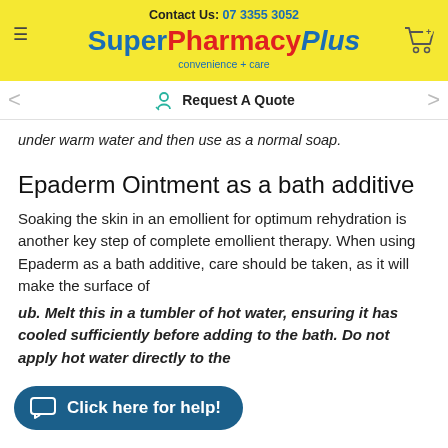Contact Us: 07 3355 3052 | SuperPharmacy Plus — convenience + care
Request A Quote
under warm water and then use as a normal soap.
Epaderm Ointment as a bath additive
Soaking the skin in an emollient for optimum rehydration is another key step of complete emollient therapy. When using Epaderm as a bath additive, care should be taken, as it will make the surface of
ub. Melt this in a tumbler of hot water, ensuring it has cooled sufficiently before adding to the bath. Do not apply hot water directly to the